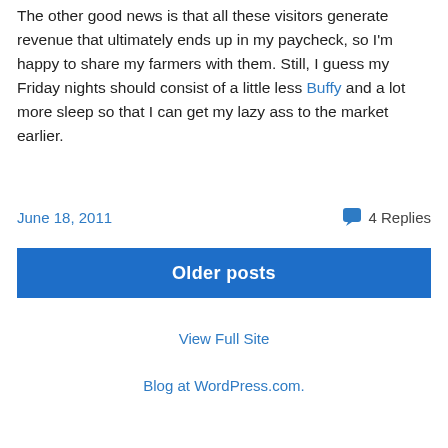The other good news is that all these visitors generate revenue that ultimately ends up in my paycheck, so I'm happy to share my farmers with them. Still, I guess my Friday nights should consist of a little less Buffy and a lot more sleep so that I can get my lazy ass to the market earlier.
June 18, 2011
4 Replies
Older posts
View Full Site
Blog at WordPress.com.